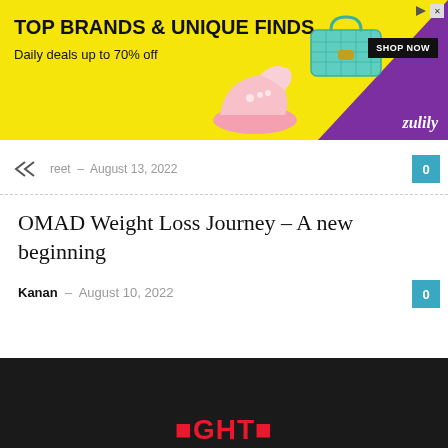[Figure (other): Zulily advertisement banner with yellow background, pink sneaker, teal handbag, 'TOP BRANDS & UNIQUE FINDS' text, 'Daily deals up to 70% off', SHOP NOW button, purple triangle in corner, and Zulily logo]
reet - August 13, 2022
OMAD Weight Loss Journey – A new beginning
Kanan - August 10, 2022
[Figure (other): Dark footer area with partially visible red logo text at the bottom]